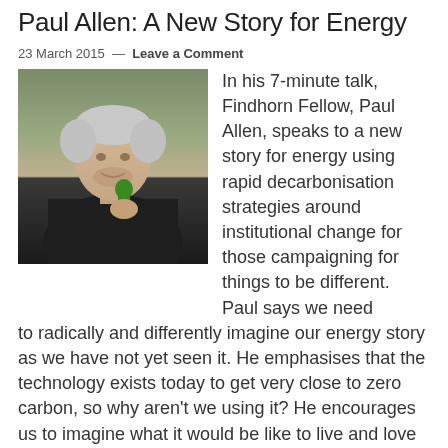Paul Allen: A New Story for Energy
23 March 2015 — Leave a Comment
[Figure (photo): Photo of Paul Allen, a man with white hair holding a green microphone, speaking at an event with a dark/green background]
In his 7-minute talk, Findhorn Fellow, Paul Allen, speaks to a new story for energy using rapid decarbonisation strategies around institutional change for those campaigning for things to be different. Paul says we need to radically and differently imagine our energy story as we have not yet seen it. He emphasises that the technology exists today to get very close to zero carbon, so why aren't we using it? He encourages us to imagine what it would be like to live and love in a zero-carbon … [Watch video]
Filed Under: New Story Summit